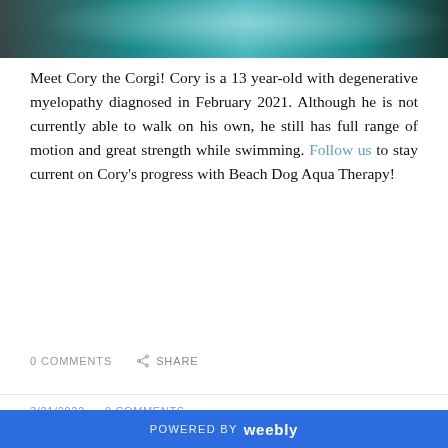[Figure (photo): Cropped top portion of an underwater/pool photo with teal and dark tones]
Meet Cory the Corgi! Cory is a 13 year-old with degenerative myelopathy diagnosed in February 2021. Although he is not currently able to walk on his own, he still has full range of motion and great strength while swimming. Follow us to stay current on Cory's progress with Beach Dog Aqua Therapy!
0 COMMENTS   SHARE
3/21/2022   0 COMMENTS
Treating Canine Hip Dysplasia with Hydrotherapy
Hip dysplasia is the deformity of the hips that occurs during growth. It is a genetic disease that loosens the hip
POWERED BY weebly